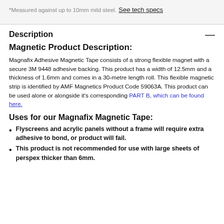*Measured against up to 10mm mild steel.
See tech specs
Description
Magnetic Product Description:
Magnafix Adhesive Magnetic Tape consists of a strong flexible magnet with a secure 3M 9448 adhesive backing. This product has a width of 12.5mm and a thickness of 1.6mm and comes in a 30-metre length roll. This flexible magnetic strip is identified by AMF Magnetics Product Code 59063A. This product can be used alone or alongside it's corresponding PART B, which can be found here.
Uses for our Magnafix Magnetic Tape:
Flyscreens and acrylic panels without a frame will require extra adhesive to bond, or product will fail.
This product is not recommended for use with large sheets of perspex thicker than 6mm.